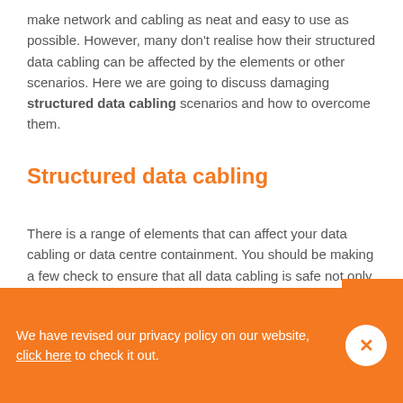make network and cabling as neat and easy to use as possible. However, many don't realise how their structured data cabling can be affected by the elements or other scenarios. Here we are going to discuss damaging structured data cabling scenarios and how to overcome them.
Structured data cabling
There is a range of elements that can affect your data cabling or data centre containment. You should be making a few check to ensure that all data cabling is safe not only for yourself but others. The last thing you want is to have a perfectly working network, and then damages bring network down, affecting business, customers unable to
We have revised our privacy policy on our website, click here to check it out.